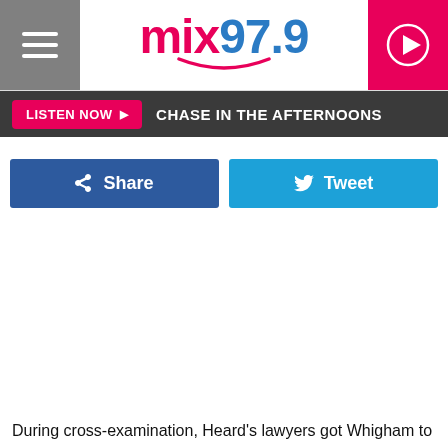[Figure (logo): Mix 97.9 radio station logo with hamburger menu icon on the left and play button on the right]
LISTEN NOW ▶  CHASE IN THE AFTERNOONS
[Figure (infographic): Facebook Share button (dark blue) and Twitter Tweet button (light blue)]
During cross-examination, Heard's lawyers got Whigham to